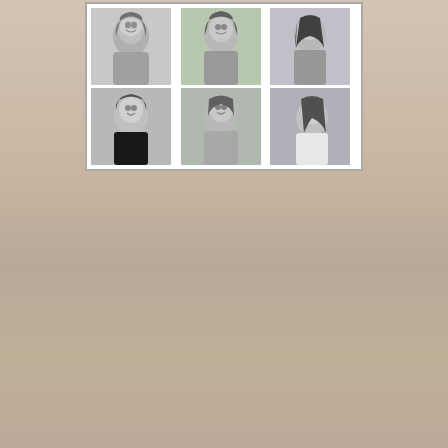[Figure (photo): A 3x2 grid of black and white portrait photos of six women, arranged in two rows of three. Top row left to right: Mads, Kirsten, Megan. Bottom row left to right: Jeanne, me, Kat.]
Top (L-R): Mads, Kirsten, Megan
Bottom (L-R): Jeanne, me, Kat
I feel incredibly fortunate to have become friends with all five of these ladies, and I've been doubly fortunate to meet Kirsten and Megan in person thus far - just in the last month and a half.  I'm hoping to get to see Mads, Kat, and Jeanne in 2013.
Kat has joked that we actually are all sister-wives, and while the polygamy jokes never get old with me, there is truth behind the humor.  After all, the six of us span multiple age demographics, and we can offer advice and insight to one